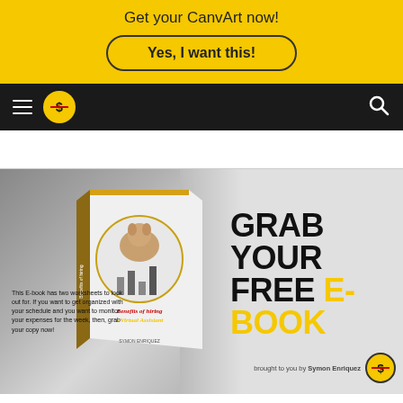Get your CanvArt now!
Yes, I want this!
[Figure (logo): Navigation bar with hamburger menu, circular yellow logo with dollar sign, and search icon on dark background]
[Figure (illustration): Promotional e-book advertisement showing a 3D book cover titled 'Benefits of hiring a Virtual Assistant' with bar chart graphic, text overlay 'This E-book has two worksheets to look out for. If you want to get organized with your schedule and you want to monitor your expenses for the week, then, grab your copy now!', and 'GRAB YOUR FREE E-BOOK' headline text, brought to you by Symon Enriquez]